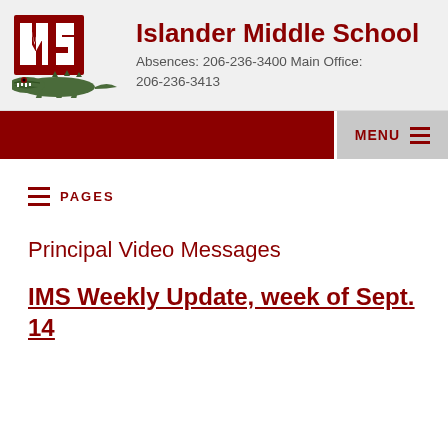Islander Middle School
Absences: 206-236-3400 Main Office: 206-236-3413
[Figure (logo): IMS logo with alligator mascot and red block letters IMS]
PAGES
Principal Video Messages
IMS Weekly Update, week of Sept. 14